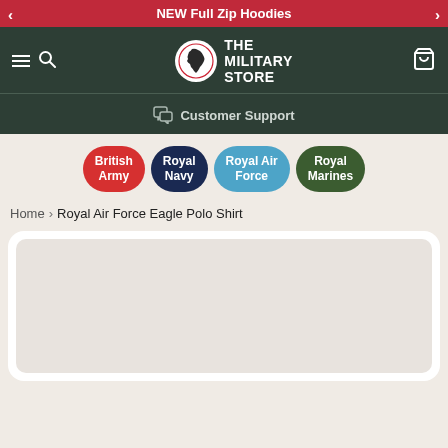NEW Full Zip Hoodies
[Figure (logo): The Military Store logo with UK map in circle and white text]
Customer Support
British Army
Royal Navy
Royal Air Force
Royal Marines
Home > Royal Air Force Eagle Polo Shirt
[Figure (photo): Product image area (blank/loading)]